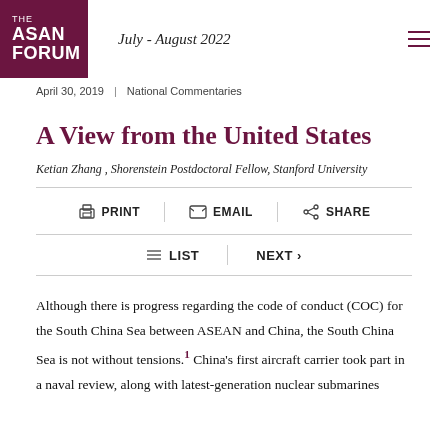THE ASAN FORUM | July - August 2022
April 30, 2019 | National Commentaries
A View from the United States
Ketian Zhang , Shorenstein Postdoctoral Fellow, Stanford University
PRINT | EMAIL | SHARE
LIST | NEXT >
Although there is progress regarding the code of conduct (COC) for the South China Sea between ASEAN and China, the South China Sea is not without tensions.1 China's first aircraft carrier took part in a naval review, along with latest-generation nuclear submarines